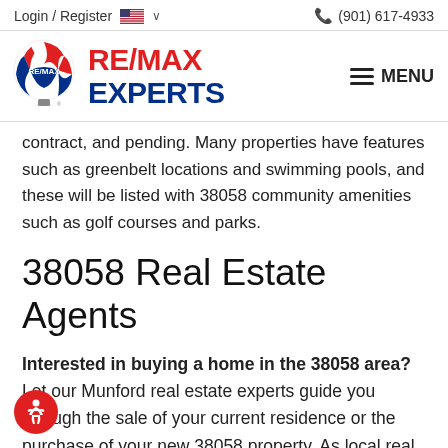Login / Register  🇺🇸 ∨    ☎ (901) 617-4933
[Figure (logo): RE/MAX Experts logo with hot air balloon icon and text RE/MAX EXPERTS in red and blue, alongside MENU hamburger button]
contract, and pending. Many properties have features such as greenbelt locations and swimming pools, and these will be listed with 38058 community amenities such as golf courses and parks.
38058 Real Estate Agents
Interested in buying a home in the 38058 area? Let our Munford real estate experts guide you through the sale of your current residence or the purchase of your new 38058 property. As local real estate agents,